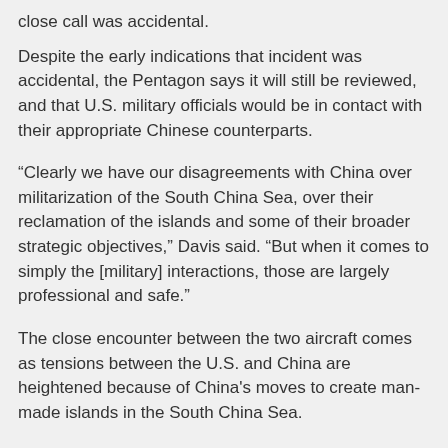close call was accidental.
Despite the early indications that incident was accidental, the Pentagon says it will still be reviewed, and that U.S. military officials would be in contact with their appropriate Chinese counterparts.
“Clearly we have our disagreements with China over militarization of the South China Sea, over their reclamation of the islands and some of their broader strategic objectives,” Davis said. “But when it comes to simply the [military] interactions, those are largely professional and safe.”
The close encounter between the two aircraft comes as tensions between the U.S. and China are heightened because of China's moves to create man-made islands in the South China Sea.